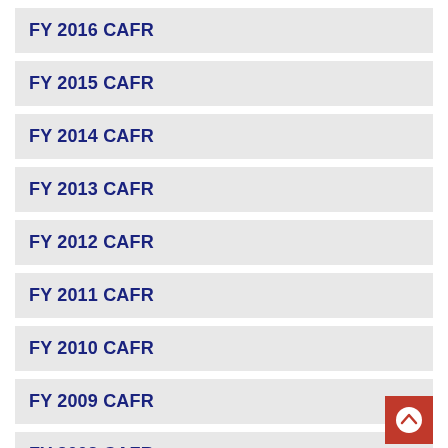FY 2016 CAFR
FY 2015 CAFR
FY 2014 CAFR
FY 2013 CAFR
FY 2012 CAFR
FY 2011 CAFR
FY 2010 CAFR
FY 2009 CAFR
FY 2008 CAFR